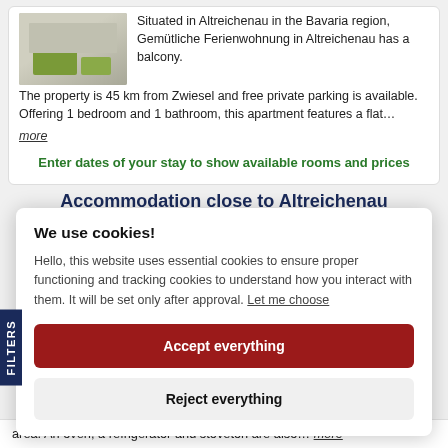[Figure (photo): Interior room photo showing a flat with green rugs/mats on a wooden floor]
Situated in Altreichenau in the Bavaria region, Gemütliche Ferienwohnung in Altreichenau has a balcony. The property is 45 km from Zwiesel and free private parking is available. Offering 1 bedroom and 1 bathroom, this apartment features a flat…
more
Enter dates of your stay to show available rooms and prices
Accommodation close to Altreichenau
We use cookies!
Hello, this website uses essential cookies to ensure proper functioning and tracking cookies to understand how you interact with them. It will be set only after approval. Let me choose
Accept everything
Reject everything
area. An oven, a refrigerator and stoveton are also…
more